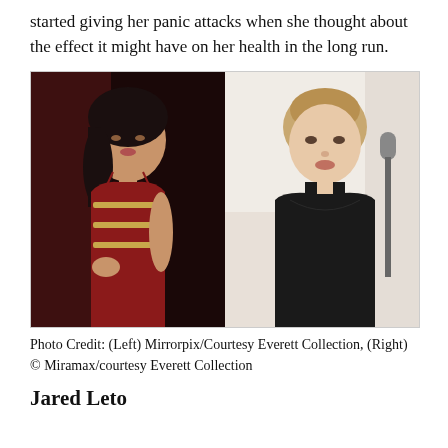started giving her panic attacks when she thought about the effect it might have on her health in the long run.
[Figure (photo): Two side-by-side photos: (Left) A woman with dark hair wearing a strapless red/gold dress; (Right) A woman with light hair in a black dress at a microphone.]
Photo Credit: (Left) Mirrorpix/Courtesy Everett Collection, (Right) © Miramax/courtesy Everett Collection
Jared Leto